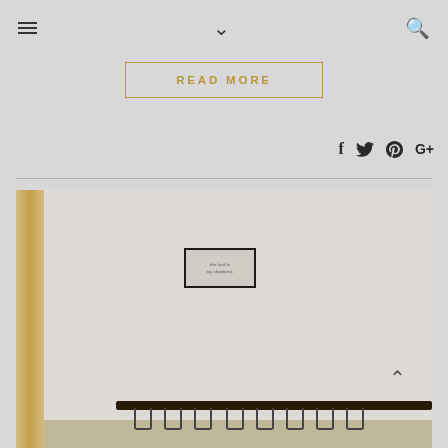Navigation bar with hamburger menu, chevron dropdown, and search icon
READ MORE
[Figure (other): Social sharing icons row: Facebook, Twitter, Pinterest, Google+]
[Figure (photo): Interior photo showing a wooden rod on the left, a wall with a small framed sign reading 'the lord is my shepherd', and a dark wooden hook rack with metal hooks at the bottom]